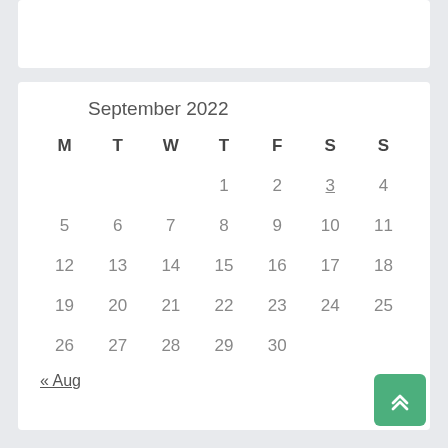| M | T | W | T | F | S | S |
| --- | --- | --- | --- | --- | --- | --- |
|  |  |  | 1 | 2 | 3 | 4 |
| 5 | 6 | 7 | 8 | 9 | 10 | 11 |
| 12 | 13 | 14 | 15 | 16 | 17 | 18 |
| 19 | 20 | 21 | 22 | 23 | 24 | 25 |
| 26 | 27 | 28 | 29 | 30 |  |  |
« Aug